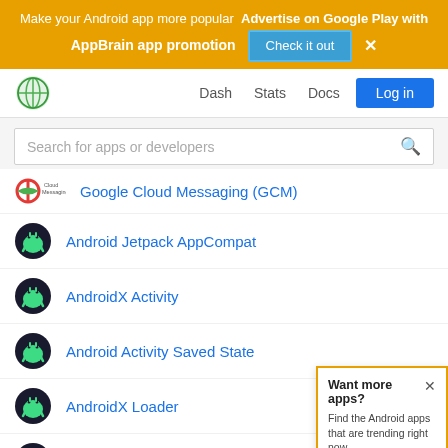Make your Android app more popular  Advertise on Google Play with AppBrain app promotion  Check it out  ×
[Figure (logo): AppBrain globe logo, navigation bar with Dash, Stats, Docs links and Log in button]
Search for apps or developers
Google Cloud Messaging (GCM)
Android Jetpack AppCompat
AndroidX Activity
Android Activity Saved State
AndroidX Loader
Android Transition Support Library
AndroidX Legacy: Support Library core utils
Android Support Library collections
Androi...
Androi...
Want more apps?

Find the Android apps that are trending right now